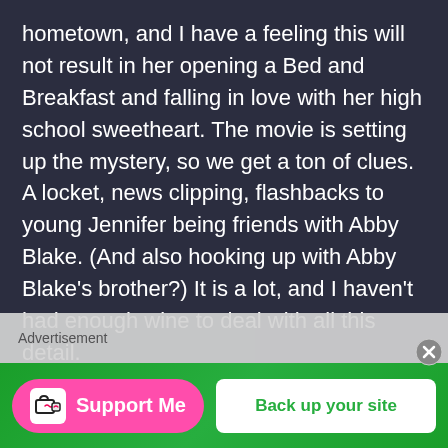hometown, and I have a feeling this will not result in her opening a Bed and Breakfast and falling in love with her high school sweetheart. The movie is setting up the mystery, so we get a ton of clues. A locket, news clipping, flashbacks to young Jennifer being friends with Abby Blake. (And also hooking up with Abby Blake's brother?) It is a lot, and I haven't had enough wine to deal with all this detail.
Jennifer learns that Lauren was having an affair with Victor. They were working on a website focusing on the murder of Abby Blake. Lauren was found with Victor's blood all over her and the murder weapon. Witnesses saw them arguing in a
[Figure (infographic): Advertisement bar at bottom: pink 'Support Me' button with Ko-fi cup icon on left, and green 'Back up your site' white button on right, on green background. Close (X) button in circle on right side.]